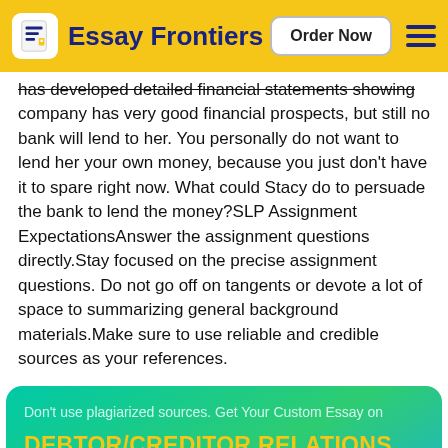Essay Frontiers | Order Now
has developed detailed financial statements showing company has very good financial prospects, but still no bank will lend to her. You personally do not want to lend her your own money, because you just don't have it to spare right now. What could Stacy do to persuade the bank to lend the money?SLP Assignment ExpectationsAnswer the assignment questions directly.Stay focused on the precise assignment questions. Do not go off on tangents or devote a lot of space to summarizing general background materials.Make sure to use reliable and credible sources as your references.
Don't use plagiarized sources. Get Your Custom Essay on
DEBTOR/CREDITOR RELATIONS, AGENCY, AND EMPLOYMENT
Suppose that thanks in part to